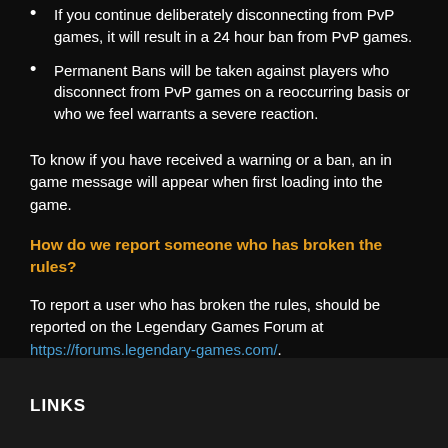If you continue deliberately disconnecting from PvP games, it will result in a 24 hour ban from PvP games.
Permanent Bans will be taken against players who disconnect from PvP games on a reoccurring basis or who we feel warrants a severe reaction.
To know if you have received a warning or a ban, an in game message will appear when first loading into the game.
How do we report someone who has broken the rules?
To report a user who has broken the rules, should be reported on the Legendary Games Forum at https://forums.legendary-games.com/.
LINKS